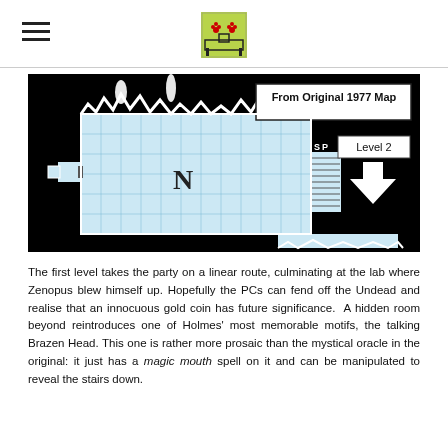[hamburger menu icon] [logo/illustration icon]
[Figure (other): Dungeon map labeled 'From Original 1977 Map' on black background showing a gridded room with 'N' marker, stairways, doors, and an arrow pointing down labeled 'Level 2']
The first level takes the party on a linear route, culminating at the lab where Zenopus blew himself up. Hopefully the PCs can fend off the Undead and realise that an innocuous gold coin has future significance. A hidden room beyond reintroduces one of Holmes' most memorable motifs, the talking Brazen Head. This one is rather more prosaic than the mystical oracle in the original: it just has a magic mouth spell on it and can be manipulated to reveal the stairs down.